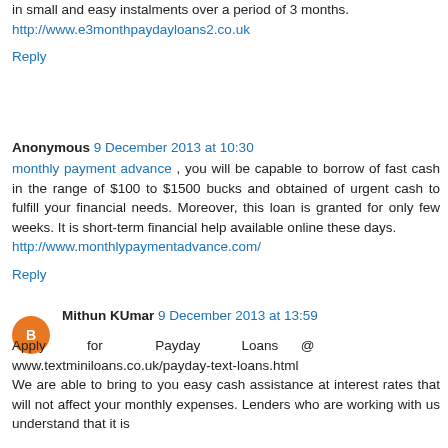in small and easy instalments over a period of 3 months. http://www.e3monthpaydayloans2.co.uk
Reply
Anonymous 9 December 2013 at 10:30
monthly payment advance , you will be capable to borrow of fast cash in the range of $100 to $1500 bucks and obtained of urgent cash to fulfill your financial needs. Moreover, this loan is granted for only few weeks. It is short-term financial help available online these days. http://www.monthlypaymentadvance.com/
Reply
Mithun KUmar 9 December 2013 at 13:59
Apply for Payday Loans @ www.textminiloans.co.uk/payday-text-loans.html We are able to bring to you easy cash assistance at interest rates that will not affect your monthly expenses. Lenders who are working with us understand that it is